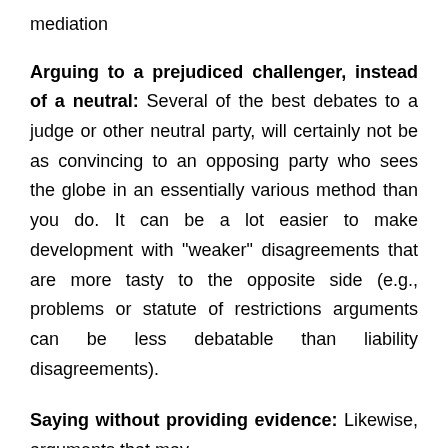mediation
Arguing to a prejudiced challenger, instead of a neutral: Several of the best debates to a judge or other neutral party, will certainly not be as convincing to an opposing party who sees the globe in an essentially various method than you do. It can be a lot easier to make development with "weaker" disagreements that are more tasty to the opposite side (e.g., problems or statute of restrictions arguments can be less debatable than liability disagreements).
Saying without providing evidence: Likewise, arguments that may